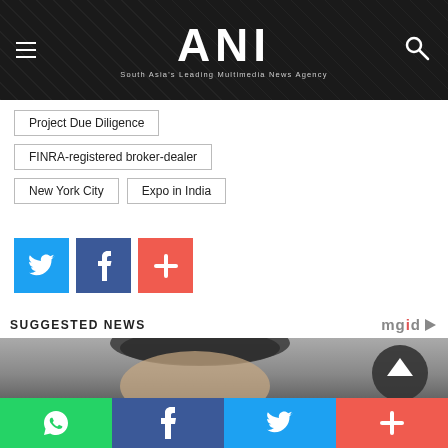ANI — South Asia's Leading Multimedia News Agency
Project Due Diligence
FINRA-registered broker-dealer
New York City
Expo in India
[Figure (infographic): Social share buttons: Twitter (blue), Facebook (dark blue), Plus/Add (red-orange)]
SUGGESTED NEWS
[Figure (photo): Person's face, partially visible, blurred background. Black circular icon on right side.]
Social share bar: WhatsApp, Facebook, Twitter, More (+)